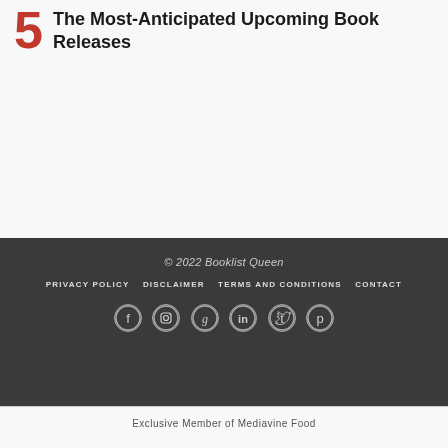5 The Most-Anticipated Upcoming Book Releases
© 2022 Booklist Queen
PRIVACY POLICY   DISCLAIMER   TERMS AND CONDITIONS   CONTACT
[Figure (other): Social media icon links: Facebook, Instagram, Goodreads, Mixcloud, Twitter, Pinterest]
Exclusive Member of Mediavine Food